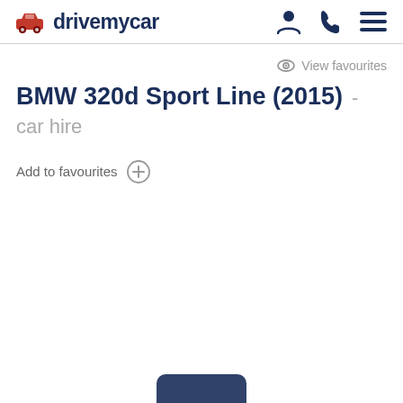drivemycar
View favourites
BMW 320d Sport Line (2015) - car hire
Add to favourites